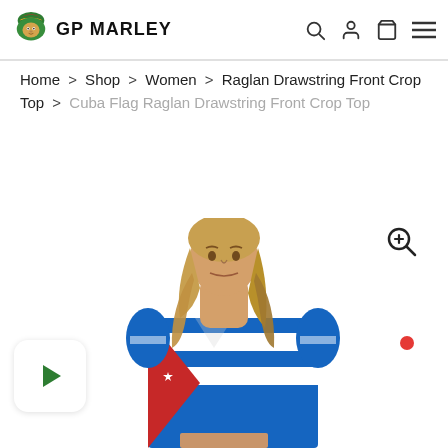GP MARLEY
Home > Shop > Women > Raglan Drawstring Front Crop Top > Cuba Flag Raglan Drawstring Front Crop Top
[Figure (photo): Model wearing Cuba Flag Raglan Drawstring Front Crop Top — a blue, white, and red crop top with Cuban flag design including a red triangle and white star. Model has long blonde hair. Page includes a magnify/zoom icon in the top-right of the image area, a play button overlay on the left, and a red notification dot on the right.]